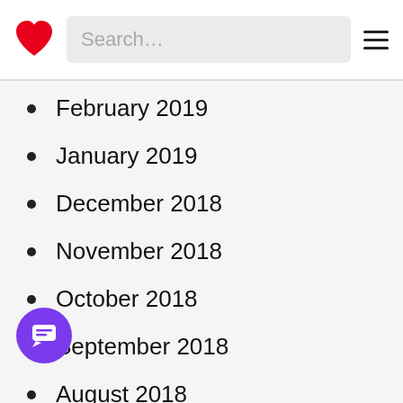Search…
February 2019
January 2019
December 2018
November 2018
October 2018
September 2018
August 2018
July 2018
June 2018
May 2018
April 2018
March 2018
February 2018
January 2018
December 2017